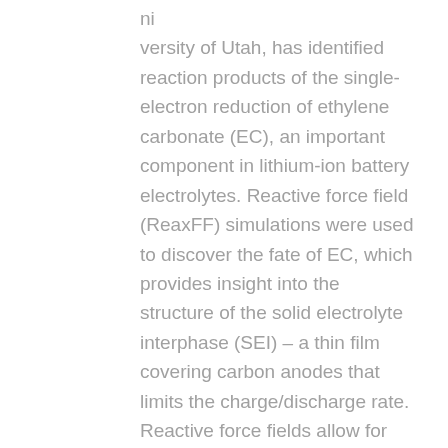ni versity of Utah, has identified reaction products of the single-electron reduction of ethylene carbonate (EC), an important component in lithium-ion battery electrolytes. Reactive force field (ReaxFF) simulations were used to discover the fate of EC, which provides insight into the structure of the solid electrolyte interphase (SEI) – a thin film covering carbon anodes that limits the charge/discharge rate. Reactive force fields allow for the making/breaking of chemical bonds during classical molecular dynamics simulations. Because electronic degrees of freedom are treated in a simplified manner, these reactive molecular dynamics (RMD) simulations allow for the study of chemical reactions in much larger collections of